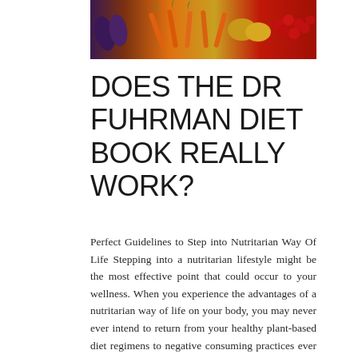[Figure (photo): Banner photo of colorful vegetables and fruits including eggplant, carrots, and red berries/cherries]
DOES THE DR FUHRMAN DIET BOOK REALLY WORK?
Perfect Guidelines to Step into Nutritarian Way Of Life Stepping into a nutritarian lifestyle might be the most effective point that could occur to your wellness. When you experience the advantages of a nutritarian way of life on your body, you may never ever intend to return from your healthy plant-based diet regimens to negative consuming practices ever once again. Nutritarian diet guidelines assist you to successfully handle your diet in order to acquire the best physical as well as mental wellness conditions for many years to come. Just what are the Nutritarian Diet Guidelines? The nutritarian diet plan standards are simple offering